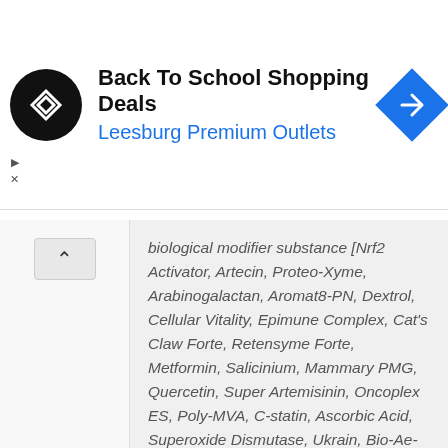[Figure (other): Advertisement banner: Back To School Shopping Deals at Leesburg Premium Outlets, with a circular black logo with arrow icon, and a blue diamond navigation icon]
biological modifier substance [Nrf2 Activator, Artecin, Proteo-Xyme, Arabinogalactan, Aromat8-PN, Dextrol, Cellular Vitality, Epimune Complex, Cat's Claw Forte, Retensyme Forte, Metformin, Salicinium, Mammary PMG, Quercetin, Super Artemisinin, Oncoplex ES, Poly-MVA, C-statin, Ascorbic Acid, Superoxide Dismutase, Ukrain, Bio-Ae-Mulsion Forte, Bio-D-Mulsion NuMedica Micellized D3, Curcumin, Vitanox, Mistletoe, AHCC Active Hexose Correlated Compound, Amygdalin (B17), Thymex, Burdock Complex, Salvestrol, Virxcan, Immune Plus (fermented soyextract), DCA (dichloroacetate),